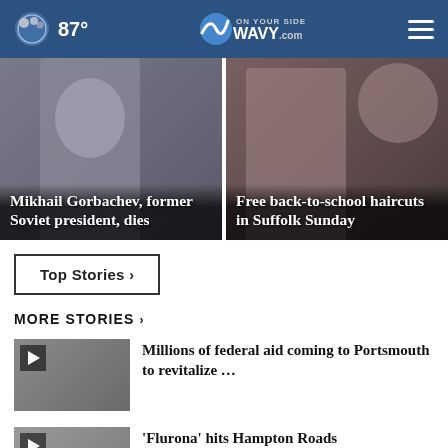87° WAVY.com
[Figure (photo): Mikhail Gorbachev speaking at a microphone]
Mikhail Gorbachev, former Soviet president, dies
[Figure (photo): Person getting a haircut]
Free back-to-school haircuts in Suffolk Sunday
Top Stories ›
MORE STORIES ›
[Figure (screenshot): Video thumbnail for Portsmouth federal aid story]
Millions of federal aid coming to Portsmouth to revitalize …
[Figure (screenshot): Video thumbnail for Flurona story]
'Flurona' hits Hampton Roads